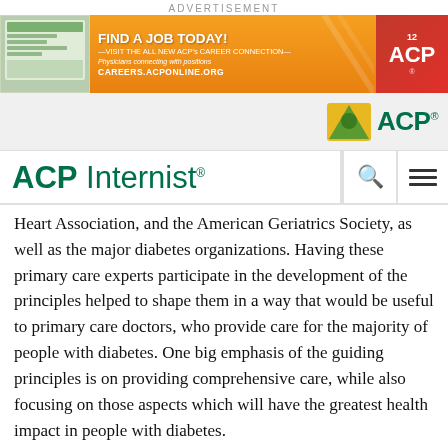ADVERTISEMENT
[Figure (photo): ACP Career Connection advertisement banner showing 'FIND A JOB TODAY! VISIT THE ALL NEW ACP's CAREER CONNECTION — Physicians connecting with positions — CAREERS.ACPONLINE.ORG' with ACP logo on red background]
[Figure (logo): ACP logo with green leaf graphic and 'ACP' text in green on gray navigation bar]
ACP Internist
Heart Association, and the American Geriatrics Society, as well as the major diabetes organizations. Having these primary care experts participate in the development of the principles helped to shape them in a way that would be useful to primary care doctors, who provide care for the majority of people with diabetes. One big emphasis of the guiding principles is on providing comprehensive care, while also focusing on those aspects which will have the greatest health impact in people with diabetes.
Q: Will the principles be updated as practice changes?